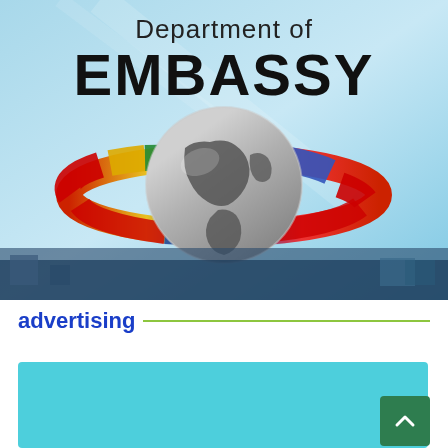[Figure (illustration): Embassy department illustration showing a metallic globe with world flags forming a ring around it, set against a light blue background with 'Department of EMBASSY' text at the top in dark letters]
advertising
[Figure (other): Teal/cyan colored advertising banner area at the bottom of the page]